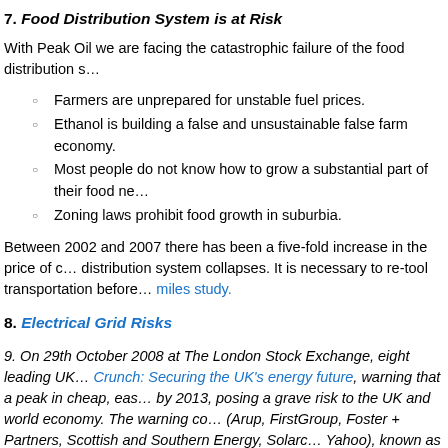7. Food Distribution System is at Risk
With Peak Oil we are facing the catastrophic failure of the food distribution s…
Farmers are unprepared for unstable fuel prices.
Ethanol is building a false and unsustainable false farm economy.
Most people do not know how to grow a substantial part of their food ne…
Zoning laws prohibit food growth in suburbia.
Between 2002 and 2007 there has been a five-fold increase in the price of c… distribution system collapses. It is necessary to re-tool transportation before… miles study.
8. Electrical Grid Risks
9. On 29th October 2008 at The London Stock Exchange, eight leading UK … Crunch: Securing the UK's energy future, warning that a peak in cheap, eas… by 2013, posing a grave risk to the UK and world economy. The warning co… (Arup, FirstGroup, Foster + Partners, Scottish and Southern Energy, Solarc… Yahoo), known as The Peak Oil Group. Link
10. US Army view on Peak Oil
11. German Military on Peak Oil